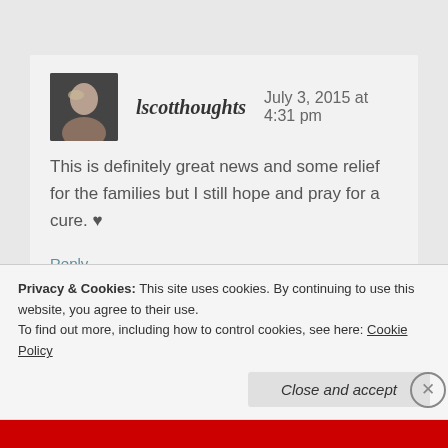lscotthoughts   July 3, 2015 at 4:31 pm
This is definitely great news and some relief for the families but I still hope and pray for a cure. ♥
Reply
Leave a Reply to tric
Privacy & Cookies: This site uses cookies. By continuing to use this website, you agree to their use.
To find out more, including how to control cookies, see here: Cookie Policy
Close and accept